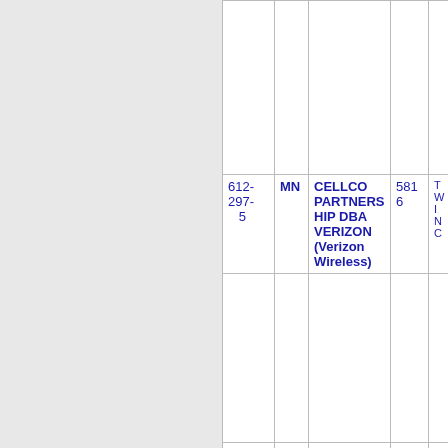| Phone | State | Company | Code | Area |
| --- | --- | --- | --- | --- |
|  |  |  |  |  |
| 612-297-5 | MN | CELLCO PARTNERSHIP DBA VERIZON (Verizon Wireless) | 5816 | TWINC |
|  |  |  |  |  |
| 612-297-6 | MN | CELLCO PARTNERSHIP DBA | 5816 | TWINC |